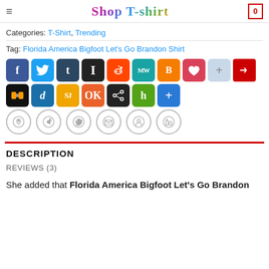Shop T-shirt
Categories: T-Shirt, Trending
Tag: Florida America Bigfoot Let's Go Brandon Shirt
[Figure (infographic): Social sharing icons grid: Facebook, Twitter, Tumblr, Instapaper, Reddit, MeWe, Blogger, Pocket, Plus, Flipboard, Buffer, Diigo, SJ, OK, CrossMark, Houzz, AddThis; then circle icons for WhatsApp, Facebook, Twitter, Email, Pinterest, LinkedIn]
DESCRIPTION
REVIEWS (3)
She added that Florida America Bigfoot Let's Go Brandon Shirt